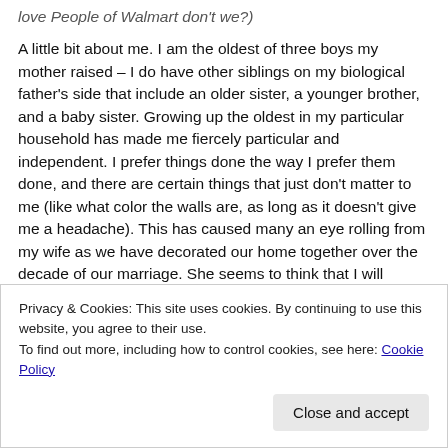love People of Walmart don't we?)
A little bit about me. I am the oldest of three boys my mother raised – I do have other siblings on my biological father's side that include an older sister, a younger brother, and a baby sister. Growing up the oldest in my particular household has made me fiercely particular and independent. I prefer things done the way I prefer them done, and there are certain things that just don't matter to me (like what color the walls are, as long as it doesn't give me a headache). This has caused many an eye rolling from my wife as we have decorated our home together over the decade of our marriage. She seems to think that I will change in that aspect, when I probably won't. My wife, no matter what else
Privacy & Cookies: This site uses cookies. By continuing to use this website, you agree to their use.
To find out more, including how to control cookies, see here: Cookie Policy
Close and accept